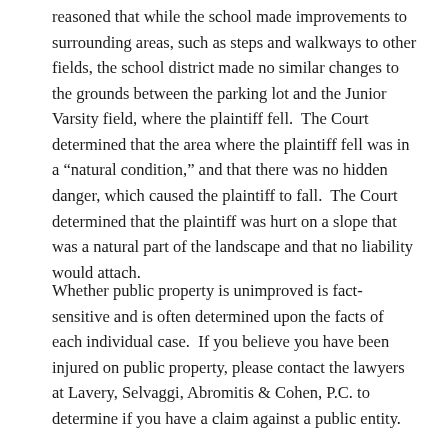reasoned that while the school made improvements to surrounding areas, such as steps and walkways to other fields, the school district made no similar changes to the grounds between the parking lot and the Junior Varsity field, where the plaintiff fell. The Court determined that the area where the plaintiff fell was in a “natural condition,” and that there was no hidden danger, which caused the plaintiff to fall. The Court determined that the plaintiff was hurt on a slope that was a natural part of the landscape and that no liability would attach.
Whether public property is unimproved is fact-sensitive and is often determined upon the facts of each individual case. If you believe you have been injured on public property, please contact the lawyers at Lavery, Selvaggi, Abromitis & Cohen, P.C. to determine if you have a claim against a public entity.